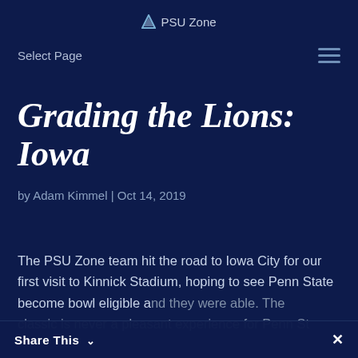PSU Zone
Select Page
Grading the Lions: Iowa
by Adam Kimmel | Oct 14, 2019
The PSU Zone team hit the road to Iowa City for our first visit to Kinnick Stadium, hoping to see Penn State become bowl eligible and they were able. The classic is never a pleasant experience for Penn St...
Share This